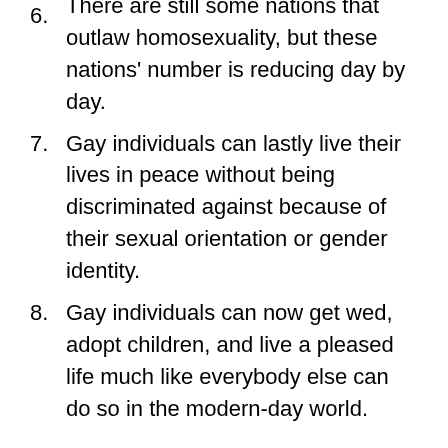6. There are still some nations that outlaw homosexuality, but these nations' number is reducing day by day.
7. Gay individuals can lastly live their lives in peace without being discriminated against because of their sexual orientation or gender identity.
8. Gay individuals can now get wed, adopt children, and live a pleased life much like everybody else can do so in the modern-day world.
The New World of